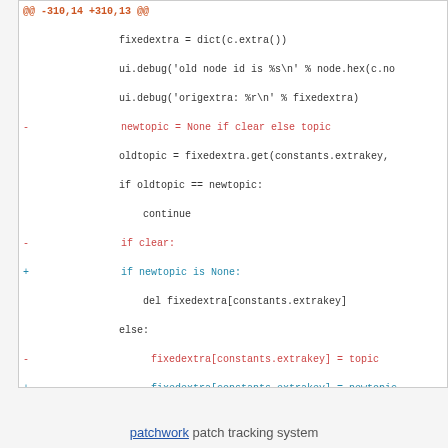[Figure (screenshot): A code diff view showing Python source code changes with removed lines in red and added lines in cyan, with diff hunk headers in orange-red. Context lines in dark/black monospace font.]
patchwork patch tracking system